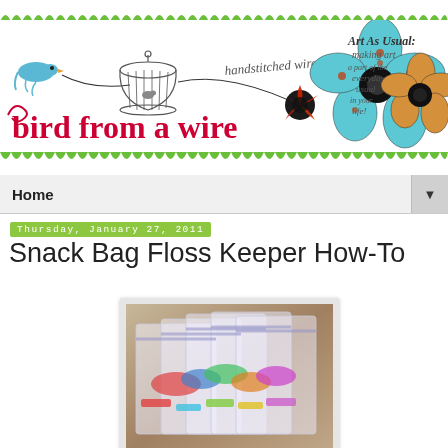[Figure (illustration): Blog header banner for 'bird from a wire' - handstitched wire art blog. Features a bird, birdcage, wire art flowers (red, teal, orange), green scalloped borders top and bottom, cursive text 'handstitched wire art', blog title 'bird from a wire' in red/dark text, and 'Art As Usual: making art a part of the everyday usual in your life!' text on right side.]
Home
Thursday, January 27, 2011
Snack Bag Floss Keeper How-To
[Figure (photo): Photo of multiple clear plastic snack bags containing colorful embroidery floss/thread, organized and stacked together.]